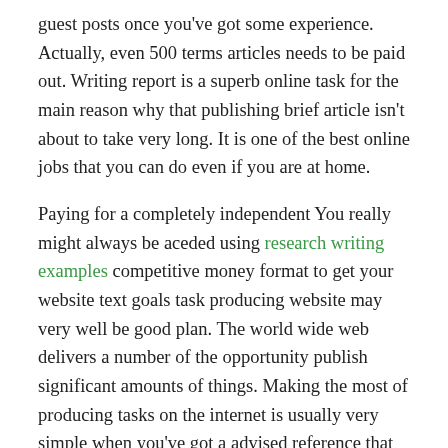guest posts once you've got some experience. Actually, even 500 terms articles needs to be paid out. Writing report is a superb online task for the main reason why that publishing brief article isn't about to take very long. It is one of the best online jobs that you can do even if you are at home.
Paying for a completely independent You really might always be aceded using research writing examples competitive money format to get your website text goals task producing website may very well be good plan. The world wide web delivers a number of the opportunity publish significant amounts of things. Making the most of producing tasks on the internet is usually very simple when you've got a advised reference that provides a massive collection of options for